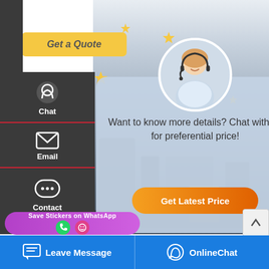[Figure (screenshot): Website screenshot showing a 'Get a Quote' button at top left, a chat popup with a customer service agent photo, 'Want to know more details? Chat with us for preferential price!' message, a 'Get Latest Price' button, a left sidebar with Chat, Email, Contact options, a product photo of an industrial boiler plant, title text '20t Biomass Boiler Plant High [E]nt Belarus', a WhatsApp sticker popup, and a blue bottom bar with 'Leave Message' and 'OnlineChat' buttons]